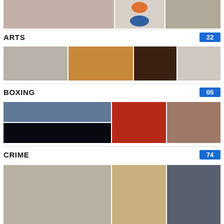[Figure (photo): Three photos at top: group photo at event, two logos (IAJP.org and OPC), officials seated at table]
ARTS 22
[Figure (photo): Four arts photos: elderly man with headdress, man in elaborate costume, close-up face, group in white attire]
BOXING 05
[Figure (photo): Three boxing photos: two men in traditional attire (split with dark bottom), crowd in red uniforms, angry man in cap]
CRIME 74
[Figure (photo): Three crime photos partially visible at bottom of page]